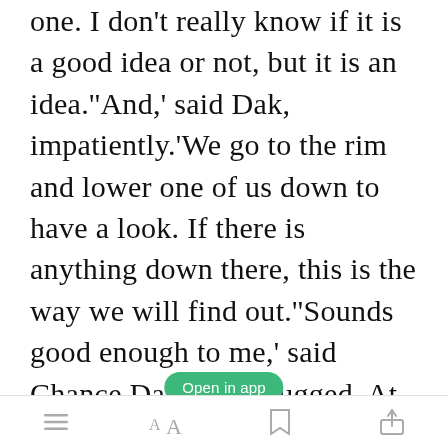one. I don't really know if it is a good idea or not, but it is an idea.''And,' said Dak, impatiently.'We go to the rim and lower one of us down to have a look. If there is anything down there, this is the way we will find out.''Sounds good enough to me,' said Chance.Dak just shrugged. At least it was a plan. 5 As they walked the few kilometres to the rim, Jan asked Dak how he had died. 'Funny
Open in app
[menu icon] [font icon] [bookmark icon] [share icon]